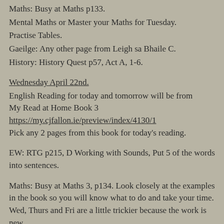Maths: Busy at Maths p133.
Mental Maths or Master your Maths for Tuesday.
Practise Tables.
Gaeilge: Any other page from Leigh sa Bhaile C.
History: History Quest p57, Act A, 1-6.
Wednesday April 22nd.
English Reading for today and tomorrow will be from My Read at Home Book 3 https://my.cjfallon.ie/preview/index/4130/1 Pick any 2 pages from this book for today's reading.
EW: RTG p215, D Working with Sounds, Put 5 of the words into sentences.
Maths: Busy at Maths 3, p134. Look closely at the examples in the book so you will know what to do and take your time. Wed, Thurs and Fri are a little trickier because the work is new.